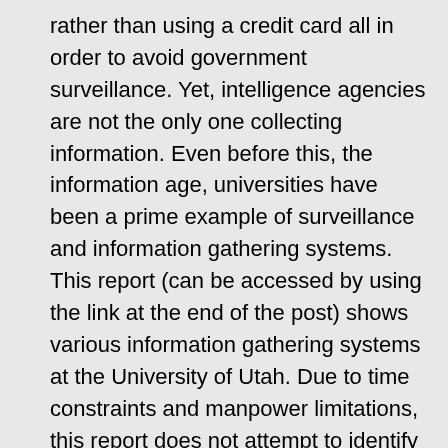rather than using a credit card all in order to avoid government surveillance. Yet, intelligence agencies are not the only one collecting information. Even before this, the information age, universities have been a prime example of surveillance and information gathering systems. This report (can be accessed by using the link at the end of the post) shows various information gathering systems at the University of Utah. Due to time constraints and manpower limitations, this report does not attempt to identify or discuss all the surveillance systems in operation at the University. A list of persons interviewed for this report is attached as Appendix A. We wish to thank those University employees and administrators for their openness in meeting with